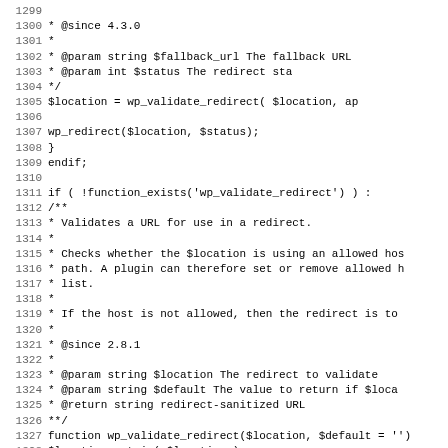Source code listing, lines 1299-1331, showing PHP functions wp_validate_redirect and related code